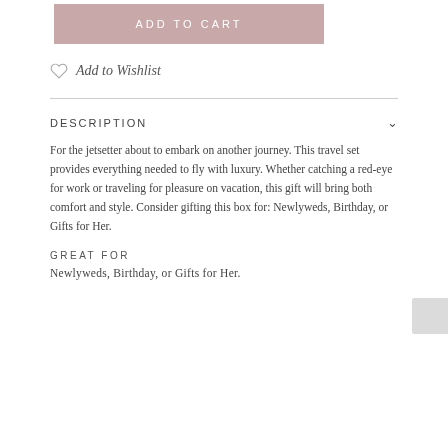ADD TO CART
Add to Wishlist
DESCRIPTION
For the jetsetter about to embark on another journey. This travel set provides everything needed to fly with luxury. Whether catching a red-eye for work or traveling for pleasure on vacation, this gift will bring both comfort and style. Consider gifting this box for: Newlyweds, Birthday, or Gifts for Her.
GREAT FOR
Newlyweds, Birthday, or Gifts for Her.